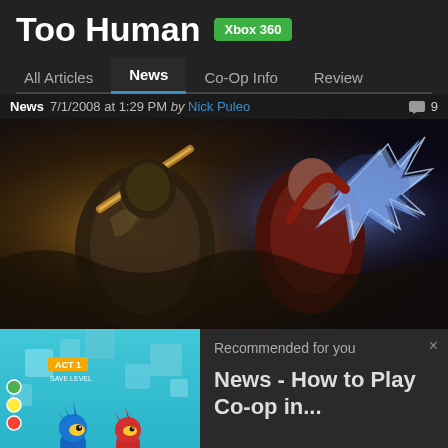Too Human
Xbox 360
All Articles | News | Co-Op Info | Review
News  7/1/2008 at 1:29 PM by Nick Puleo  9
[Figure (screenshot): Too Human Xbox 360 game screenshot showing two armored characters in combat — a large robotic warrior with a glowing weapon on the left and a red-armored character with electric powers on the right]
[Figure (screenshot): Sonic the Hedgehog style game screenshot showing Sonic and another character in a cyan block-puzzle environment, with ACT 1 label and colored score dots on the left]
Recommended for you
News - How to Play Co-op in...
www.co-optimus.com
AddThis